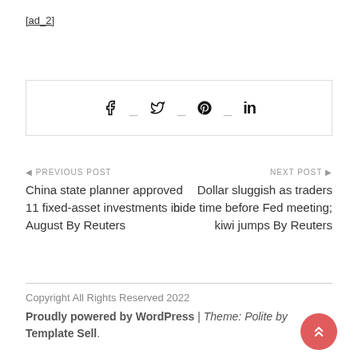[ad_2]
[Figure (other): Social sharing bar with Facebook, Twitter, Pinterest, and LinkedIn icons]
◀ PREVIOUS POST
China state planner approved 11 fixed-asset investments in August By Reuters
NEXT POST ▶
Dollar sluggish as traders bide time before Fed meeting; kiwi jumps By Reuters
Copyright All Rights Reserved 2022
Proudly powered by WordPress | Theme: Polite by Template Sell.